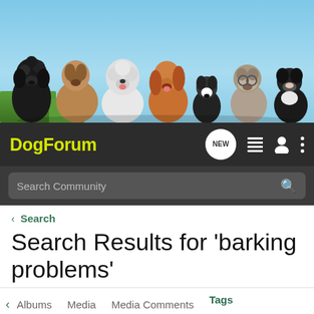[Figure (photo): Banner photo of multiple dog breeds lined up against a blue sky background]
DogForum — navigation bar with logo, NEW button, list icon, user icon, and menu dots. Search Community bar below.
< Search
Search Results for 'barking problems'
< Albums   Media   Media Comments   Tags
Search Tags